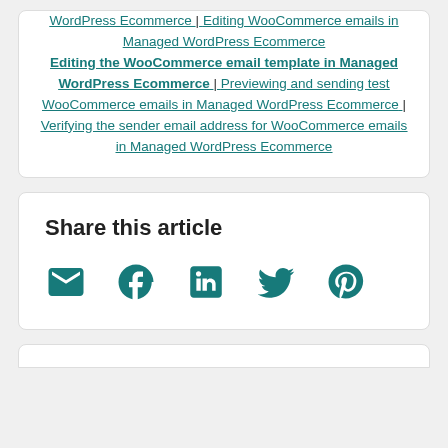WordPress Ecommerce | Editing WooCommerce emails in Managed WordPress Ecommerce Editing the WooCommerce email template in Managed WordPress Ecommerce | Previewing and sending test WooCommerce emails in Managed WordPress Ecommerce | Verifying the sender email address for WooCommerce emails in Managed WordPress Ecommerce
Share this article
[Figure (other): Social share icons: email, Facebook, LinkedIn, Twitter, Pinterest]